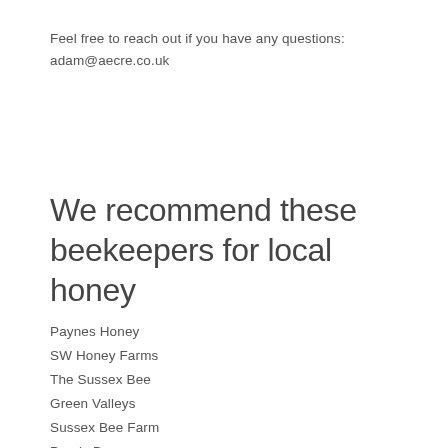Feel free to reach out if you have any questions:
adam@aecre.co.uk
We recommend these beekeepers for local honey
Paynes Honey
SW Honey Farms
The Sussex Bee
Green Valleys
Sussex Bee Farm
Purely Bees